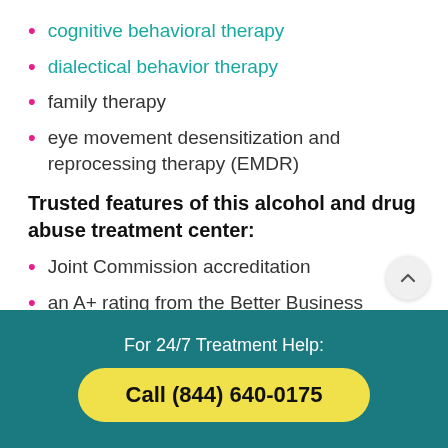cognitive behavioral therapy
dialectical behavior therapy
family therapy
eye movement desensitization and reprocessing therapy (EMDR)
Trusted features of this alcohol and drug abuse treatment center:
Joint Commission accreditation
an A+ rating from the Better Business Bureau
For 24/7 Treatment Help:
Call (844) 640-0175